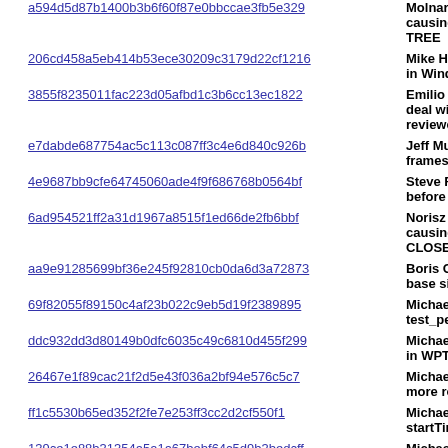a594d5d87b1400b3b6f60f87e0bbccae3fb5e329 | Molnar Sandor — causing mochite TREE
206cd458a5eb414b53ece30209c3179d22cf1216 | Mike Hommey — in Windows buil
3855f8235011fac223d05afbd1c3b6cc13ec1822 | Emilio Cobos Álv — deal with adopte reviewers,boris
e7dabde687754ac5c113c087ff3c4e6d840c926b | Jeff Muizelaar — frames. r=bwc
4e9687bb9cfe64745060ade4f9f686768b0564bf | Steve Fink — Bu before JS initiali
6ad954521ff2a31d1967a8515f1ed66de2fb6bbf | Norisz Fay — Ba causing bc failu CLOSED TREE
aa9e91285699bf36e245f92810cb0da6d3a72873 | Boris Chiou — B base size if main
69f82055f89150c4af23b022c9eb5d19f2389895 | Michael Comella test_performanc
ddc932dd3d80149b0dfc6035c49c6810d455f299 | Michael Comella in WPT mark-err
26467e1f89cac21f2d5e43f036a2bf94e576c5c7 | Michael Comella more robust. r=s
ff1c5530b65ed352f2fe7e253ff3cc2d2cf550f1 | Michael Comella startTime User T
139ce1e88b31354a5a1a67bebf64c5d9b3bedcff | Michael Comella Timing L3. r=sefe
b9c1829dd475653ae073727184c10f5e4bcb6eea | Michael Comella r=smaug